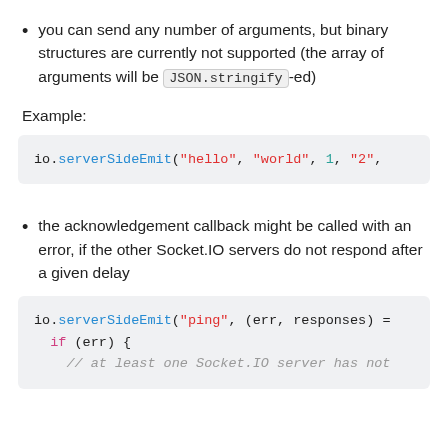you can send any number of arguments, but binary structures are currently not supported (the array of arguments will be JSON.stringify-ed)
Example:
[Figure (screenshot): Code block showing: io.serverSideEmit("hello", "world", 1, "2",]
the acknowledgement callback might be called with an error, if the other Socket.IO servers do not respond after a given delay
[Figure (screenshot): Code block showing: io.serverSideEmit("ping", (err, responses) = ... if (err) { // at least one Socket.IO server has not]